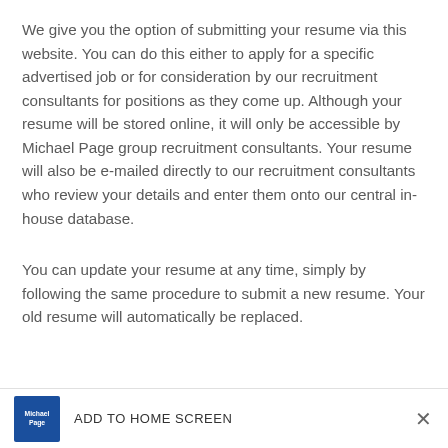We give you the option of submitting your resume via this website. You can do this either to apply for a specific advertised job or for consideration by our recruitment consultants for positions as they come up. Although your resume will be stored online, it will only be accessible by Michael Page group recruitment consultants. Your resume will also be e-mailed directly to our recruitment consultants who review your details and enter them onto our central in-house database.
You can update your resume at any time, simply by following the same procedure to submit a new resume. Your old resume will automatically be replaced.
Michael Page | ADD TO HOME SCREEN